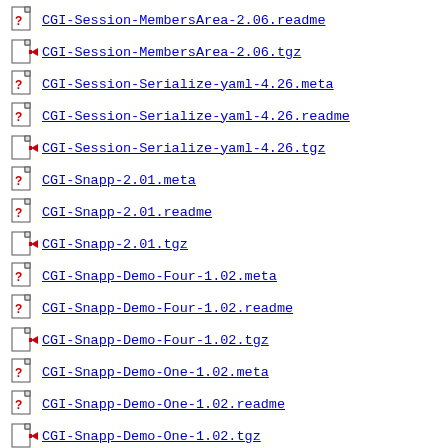CGI-Session-MembersArea-2.06.readme
CGI-Session-MembersArea-2.06.tgz
CGI-Session-Serialize-yaml-4.26.meta
CGI-Session-Serialize-yaml-4.26.readme
CGI-Session-Serialize-yaml-4.26.tgz
CGI-Snapp-2.01.meta
CGI-Snapp-2.01.readme
CGI-Snapp-2.01.tgz
CGI-Snapp-Demo-Four-1.02.meta
CGI-Snapp-Demo-Four-1.02.readme
CGI-Snapp-Demo-Four-1.02.tgz
CGI-Snapp-Demo-One-1.02.meta
CGI-Snapp-Demo-One-1.02.readme
CGI-Snapp-Demo-One-1.02.tgz
CGI-Snapp-Demo-Three-1.02.meta
CGI-Snapp-Demo-Three-1.02.readme
CGI-Snapp-Demo-Three-1.02.tgz